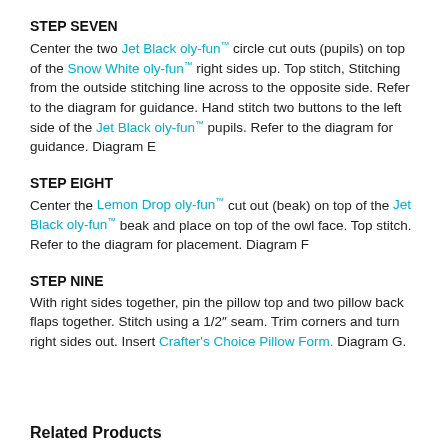STEP SEVEN
Center the two Jet Black oly-fun™ circle cut outs (pupils) on top of the Snow White oly-fun™ right sides up. Top stitch, Stitching from the outside stitching line across to the opposite side. Refer to the diagram for guidance. Hand stitch two buttons to the left side of the Jet Black oly-fun™ pupils. Refer to the diagram for guidance. Diagram E
STEP EIGHT
Center the Lemon Drop oly-fun™ cut out (beak) on top of the Jet Black oly-fun™ beak and place on top of the owl face. Top stitch. Refer to the diagram for placement. Diagram F
STEP NINE
With right sides together, pin the pillow top and two pillow back flaps together. Stitch using a 1/2" seam. Trim corners and turn right sides out. Insert Crafter's Choice Pillow Form. Diagram G.
Related Products